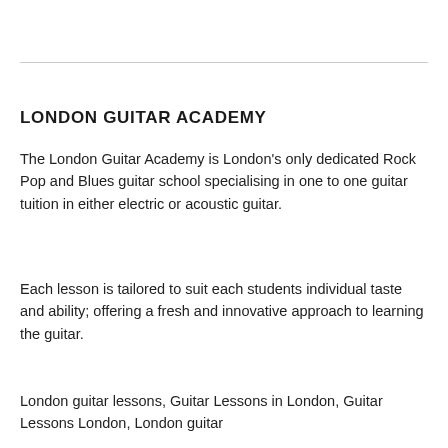LONDON GUITAR ACADEMY
The London Guitar Academy is London's only dedicated Rock Pop and Blues guitar school specialising in one to one guitar tuition in either electric or acoustic guitar.
Each lesson is tailored to suit each students individual taste and ability; offering a fresh and innovative approach to learning the guitar.
London guitar lessons, Guitar Lessons in London, Guitar Lessons London, London guitar